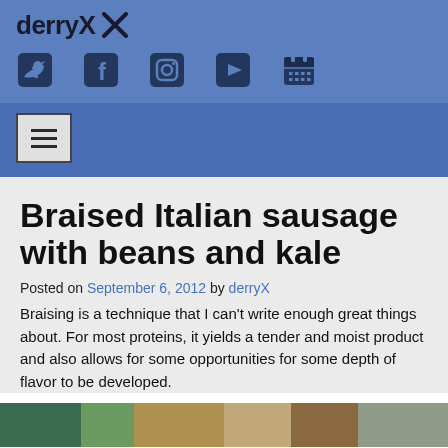derryX
[Figure (infographic): Social media icons: Twitter, Facebook, Instagram, YouTube, Calendar]
[Figure (infographic): Hamburger menu navigation button]
Braised Italian sausage with beans and kale
Posted on September 6, 2012 by derryX
Braising is a technique that I can't write enough great things about. For most proteins, it yields a tender and moist product and also allows for some opportunities for some depth of flavor to be developed.
[Figure (photo): Partial image of the braised Italian sausage dish at the bottom of the page]